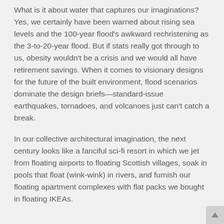What is it about water that captures our imaginations? Yes, we certainly have been warned about rising sea levels and the 100-year flood's awkward rechristening as the 3-to-20-year flood. But if stats really got through to us, obesity wouldn't be a crisis and we would all have retirement savings. When it comes to visionary designs for the future of the built environment, flood scenarios dominate the design briefs—standard-issue earthquakes, tornadoes, and volcanoes just can't catch a break.
In our collective architectural imagination, the next century looks like a fanciful sci-fi resort in which we jet from floating airports to floating Scottish villages, soak in pools that float (wink-wink) in rivers, and furnish our floating apartment complexes with flat packs we bought in floating IKEAs.